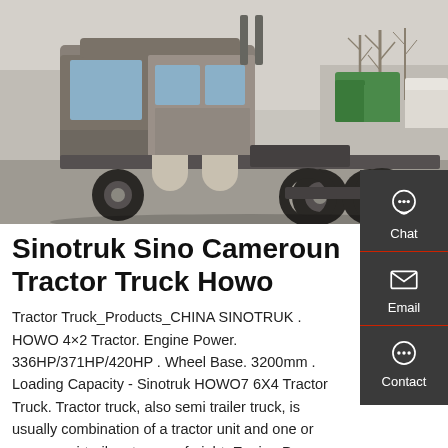[Figure (photo): A Sinotruk HOWO tractor truck (semi-truck cab without trailer) parked in a lot with other trucks and bare winter trees in the background. The truck is grey/silver colored.]
Sinotruk Sino Cameroun Tractor Truck Howo
Tractor Truck_Products_CHINA SINOTRUK . HOWO 4×2 Tractor. Engine Power. 336HP/371HP/420HP . Wheel Base. 3200mm . Loading Capacity - Sinotruk HOWO7 6X4 Tractor Truck. Tractor truck, also semi trailer truck, is usually combination of a tractor unit and one or more semi-trailers to carry freight. Engine Power. 336HP/371HP/420HP . Get Price